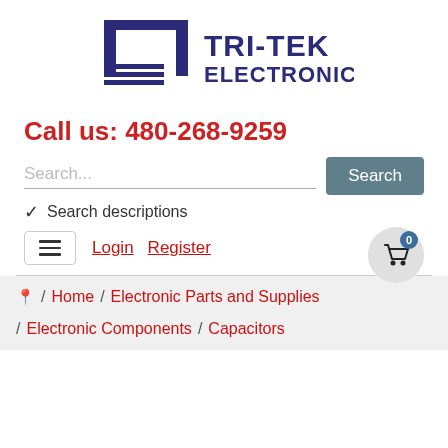[Figure (logo): Tri-Tek Electronics logo with stylized TT icon and bold serif text TRI-TEK ELECTRONICS]
Call us: 480-268-9259
Search...
Search
Search descriptions
Login  Register
Home / Electronic Parts and Supplies
Electronic Components / Capacitors